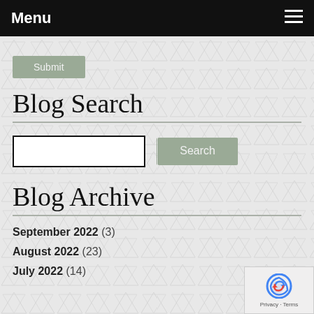Menu
Submit
Blog Search
Search
Blog Archive
September 2022 (3)
August 2022 (23)
July 2022 (14)